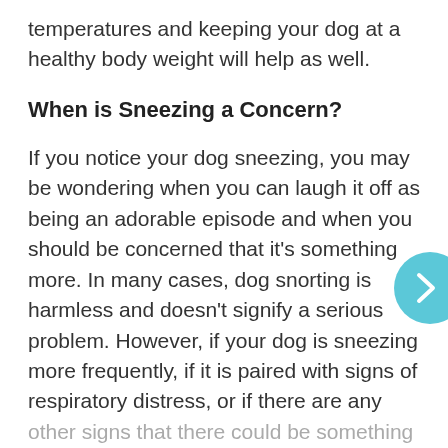temperatures and keeping your dog at a healthy body weight will help as well.
When is Sneezing a Concern?
If you notice your dog sneezing, you may be wondering when you can laugh it off as being an adorable episode and when you should be concerned that it’s something more. In many cases, dog snorting is harmless and doesn’t signify a serious problem. However, if your dog is sneezing more frequently, if it is paired with signs of respiratory distress, or if there are any other signs that there could be something more serious happening, then you should tak
[Figure (other): Blue circular navigation arrow button pointing right]